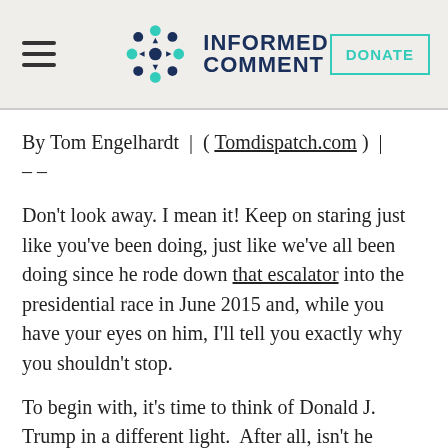INFORMED COMMENT
By Tom Engelhardt | ( Tomdispatch.com ) | – –
Don't look away. I mean it! Keep on staring just like you've been doing, just like we've all been doing since he rode down that escalator into the presidential race in June 2015 and, while you have your eyes on him, I'll tell you exactly why you shouldn't stop.
To begin with, it's time to think of Donald J. Trump in a different light.  After all, isn't he all s…  He foundling Father? Whi…